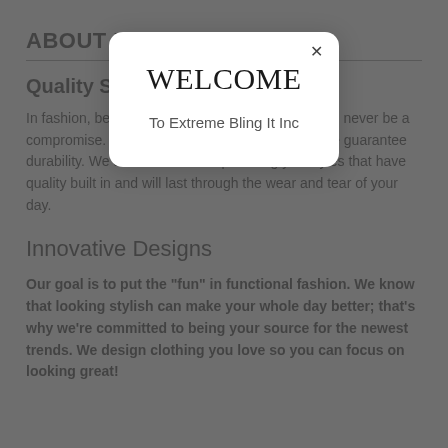ABOUT US
Quality Sty[les]
In fashion, beau[ty and fashion,] quality should never be a compromise. No matter what you're looking for, we guarantee durability. We are committed to providing you styles that have quality built in and will last through the wear and tear of your day.
Innovative Designs
Our goal is to put the "fun" in functional fashion. We know that looking stylish can make your whole day better; that's why we're committed to being your source for the newest trends. We design clothing you love so you can focus on looking great!
[Figure (screenshot): A modal dialog popup over a grayed-out webpage background. The modal has a white rounded rectangle with a close X button, title 'WELCOME' in large serif text, and subtitle 'To Extreme Bling It Inc'.]
WELCOME
To Extreme Bling It Inc